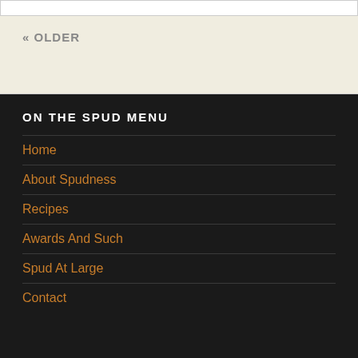« OLDER
ON THE SPUD MENU
Home
About Spudness
Recipes
Awards And Such
Spud At Large
Contact